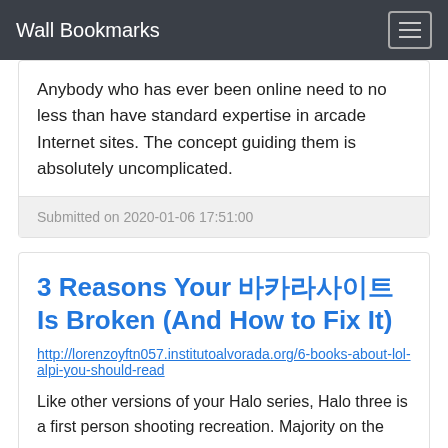Wall Bookmarks
Anybody who has ever been online need to no less than have standard expertise in arcade Internet sites. The concept guiding them is absolutely uncomplicated.
Submitted on 2020-01-06 17:51:00
3 Reasons Your 바카라사이트 Is Broken (And How to Fix It)
http://lorenzoyftn057.institutoalvorada.org/6-books-about-lol-alpi-you-should-read
Like other versions of your Halo series, Halo three is a first person shooting recreation. Majority on the